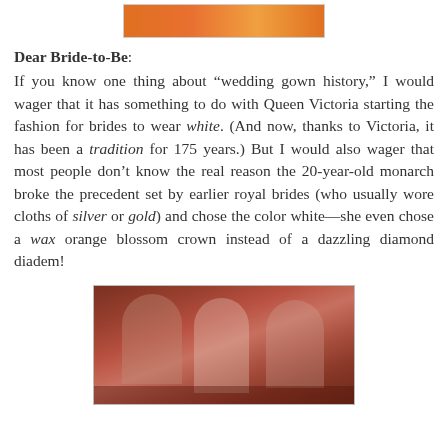[Figure (photo): Cropped bottom portion of a photo showing orange/warm-colored wedding imagery at the top of the page]
Dear Bride-to-Be: If you know one thing about “wedding gown history,” I would wager that it has something to do with Queen Victoria starting the fashion for brides to wear white. (And now, thanks to Victoria, it has been a tradition for 175 years.) But I would also wager that most people don’t know the real reason the 20-year-old monarch broke the precedent set by earlier royal brides (who usually wore cloths of silver or gold) and chose the color white—she even chose a wax orange blossom crown instead of a dazzling diamond diadem!
[Figure (photo): Historical painting or photograph of a royal wedding scene, likely depicting Queen Victoria's wedding, showing figures in formal attire with warm reddish-brown tones]